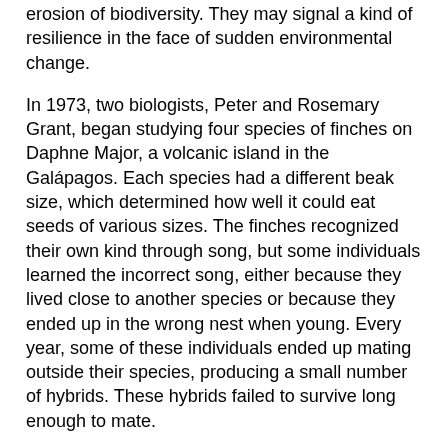erosion of biodiversity. They may signal a kind of resilience in the face of sudden environmental change.
In 1973, two biologists, Peter and Rosemary Grant, began studying four species of finches on Daphne Major, a volcanic island in the Galápagos. Each species had a different beak size, which determined how well it could eat seeds of various sizes. The finches recognized their own kind through song, but some individuals learned the incorrect song, either because they lived close to another species or because they ended up in the wrong nest when young. Every year, some of these individuals ended up mating outside their species, producing a small number of hybrids. These hybrids failed to survive long enough to mate.
Then in the early 1980s the ecology of the island shifted, following an extreme El Niño that brought torrential rain. Hybrid offspring from a large-beaked finch (Geospiza fortis) and a finch with a more pointed beak (Geospiza scandens) flourished and bred with both parental species. Over the years that followed, the genetic exchange pulled the mean beak size of the two parental species — which remained distinct — closer together.